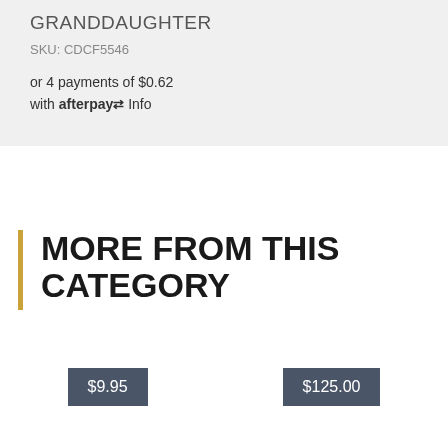GRANDDAUGHTER
SKU: CDCF5546
or 4 payments of $0.62 with afterpay Info
MORE FROM THIS CATEGORY
$9.95
$125.00